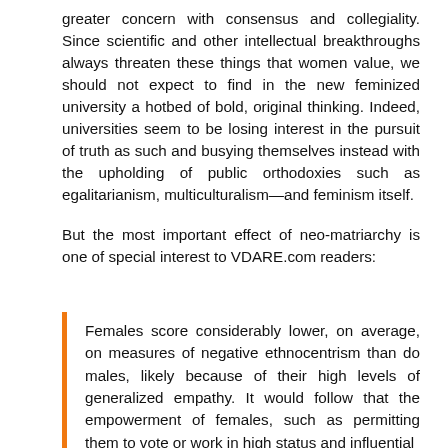greater concern with consensus and collegiality. Since scientific and other intellectual breakthroughs always threaten these things that women value, we should not expect to find in the new feminized university a hotbed of bold, original thinking. Indeed, universities seem to be losing interest in the pursuit of truth as such and busying themselves instead with the upholding of public orthodoxies such as egalitarianism, multiculturalism—and feminism itself.
But the most important effect of neo-matriarchy is one of special interest to VDARE.com readers:
Females score considerably lower, on average, on measures of negative ethnocentrism than do males, likely because of their high levels of generalized empathy. It would follow that the empowerment of females, such as permitting them to vote or work in high status and influential